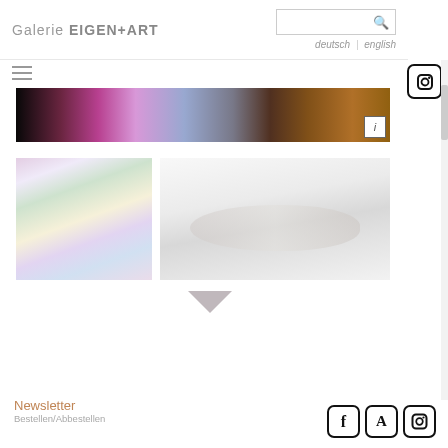Galerie EIGEN+ART
[Figure (screenshot): Website header with logo 'Galerie EIGEN+ART', search box, language switcher (deutsch | english), hamburger menu, and Instagram icon]
[Figure (photo): Top banner: dark abstract photographic image with pink, purple and amber color gradients with info button overlay]
[Figure (photo): Left thumbnail: blurred iridescent figure/sculpture in pastel rainbow tones]
[Figure (photo): Right panel: light grey photo of a reclining figure/sculpture on white surface]
Newsletter
Bestellen/Abbestellen
[Figure (infographic): Social media icons: Facebook (f), A (Artsy?), Instagram at bottom right]